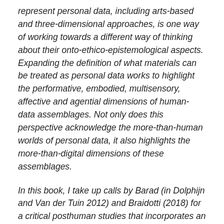represent personal data, including arts-based and three-dimensional approaches, is one way of working towards a different way of thinking about their onto-ethico-epistemological aspects. Expanding the definition of what materials can be treated as personal data works to highlight the performative, embodied, multisensory, affective and agential dimensions of human-data assemblages. Not only does this perspective acknowledge the more-than-human worlds of personal data, it also highlights the more-than-digital dimensions of these assemblages.
In this book, I take up calls by Barad (in Dolphijn and Van der Tuin 2012) and Braidotti (2018) for a critical posthuman studies that incorporates an affirmative ethics. For Braidotti (2018), the mutable and distributed nature of human agency offers a politics that is able to challenge